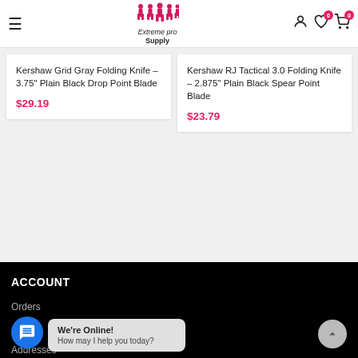Extreme pro Supply — navigation header with hamburger menu, logo, user icon, wishlist (0), cart (0)
Kershaw Grid Gray Folding Knife – 3.75" Plain Black Drop Point Blade
$29.19
Kershaw RJ Tactical 3.0 Folding Knife – 2.875" Plain Black Spear Point Blade
$23.79
ACCOUNT
Orders
Addresses
We're Online!
How may I help you today?